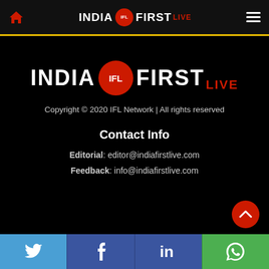India First Live — navigation bar with home icon, logo, and menu icon
[Figure (logo): India First Live logo — large white bold text INDIA, red circle with IFL, white bold text FIRST, red text LIVE]
Copyright © 2020 IFL Network | All rights reserved
Contact Info
Editorial: editor@indiafirstlive.com
Feedback: info@indiafirstlive.com
Social media links: Twitter, Facebook, LinkedIn, WhatsApp